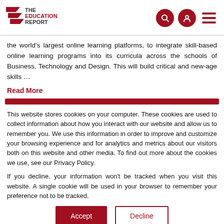THE EDUCATION REPORT
the world's largest online learning platforms, to integrate skill-based online learning programs into its curricula across the schools of Business, Technology and Design. This will build critical and new-age skills …
Read More
This website stores cookies on your computer. These cookies are used to collect information about how you interact with our website and allow us to remember you. We use this information in order to improve and customize your browsing experience and for analytics and metrics about our visitors both on this website and other media. To find out more about the cookies we use, see our Privacy Policy.
If you decline, your information won't be tracked when you visit this website. A single cookie will be used in your browser to remember your preference not to be tracked.